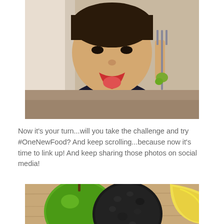[Figure (photo): A young boy in a black t-shirt with yellow 'I RUN' text making a funny face with tongue out, holding a fork with green food (edamame or similar) near his face]
Now it's your turn...will you take the challenge and try #OneNewFood? And keep scrolling...because now it's time to link up! And keep sharing those photos on social media!
[Figure (photo): A green apple, a dark avocado, and a banana arranged on a wooden surface]